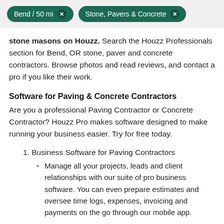Bend / 50 mi  ×   Stone, Pavers & Concrete  ×
stone masons on Houzz. Search the Houzz Professionals section for Bend, OR stone, paver and concrete contractors. Browse photos and read reviews, and contact a pro if you like their work.
Software for Paving & Concrete Contractors
Are you a professional Paving Contractor or Concrete Contractor? Houzz Pro makes software designed to make running your business easier. Try for free today.
1. Business Software for Paving Contractors
Manage all your projects, leads and client relationships with our suite of pro business software. You can even prepare estimates and oversee time logs, expenses, invoicing and payments on the go through our mobile app.